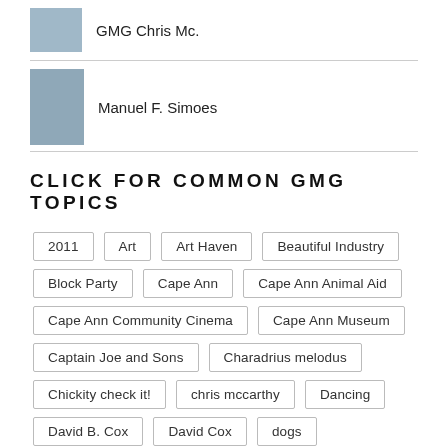GMG Chris Mc.
Manuel F. Simoes
CLICK FOR COMMON GMG TOPICS
2011
Art
Art Haven
Beautiful Industry
Block Party
Cape Ann
Cape Ann Animal Aid
Cape Ann Community Cinema
Cape Ann Museum
Captain Joe and Sons
Charadrius melodus
Chickity check it!
chris mccarthy
Dancing
David B. Cox
David Cox
dogs
Donna Ardizzoni